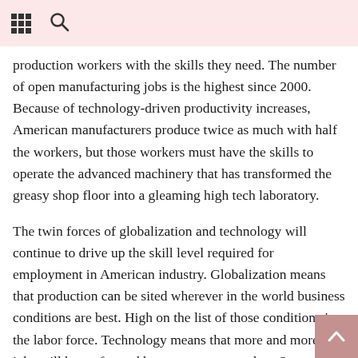[grid icon] [search icon]
production workers with the skills they need. The number of open manufacturing jobs is the highest since 2000. Because of technology-driven productivity increases, American manufacturers produce twice as much with half the workers, but those workers must have the skills to operate the advanced machinery that has transformed the greasy shop floor into a gleaming high tech laboratory.
The twin forces of globalization and technology will continue to drive up the skill level required for employment in American industry. Globalization means that production can be sited wherever in the world business conditions are best. High on the list of those conditions is the labor force. Technology means that more and more jobs will be performed by a computer or robot. Some studies predict that 80% of low-skilled jobs in the US will be robotized in the foreseeable future.